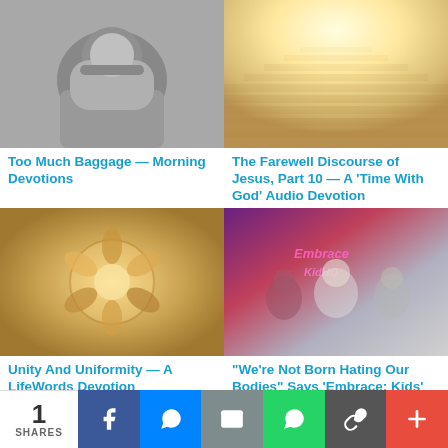[Figure (photo): Person bowing head in prayer, grayscale photo]
Too Much Baggage — Morning Devotions
[Figure (photo): Bright light at top of outdoor stone stairs, warm golden tones]
The Farewell Discourse of Jesus, Part 10 — A 'Time With God' Audio Devotion
[Figure (photo): Diverse hands holding puzzle pieces together in circle, warm tones]
Unity And Uniformity — A LifeWords Devotion
[Figure (photo): Composite image of young women with neon sign reading Embrace KidHQ]
"We're Not Born Hating Our Bodies" Says 'Embrace: Kids'
1 SHARES